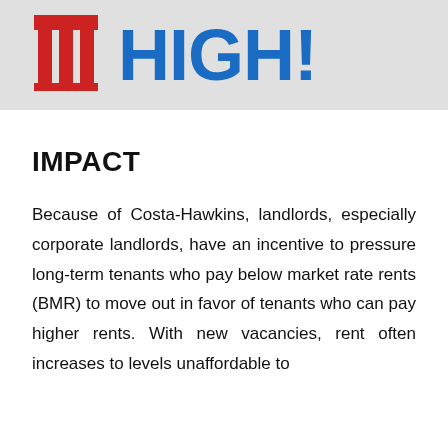[Figure (logo): Banner with a red building/column logo icon on the left and large bold blue text 'HIGH!' on a light gray background]
IMPACT
Because of Costa-Hawkins, landlords, especially corporate landlords, have an incentive to pressure long-term tenants who pay below market rate rents (BMR) to move out in favor of tenants who can pay higher rents. With new vacancies, rent often increases to levels unaffordable to